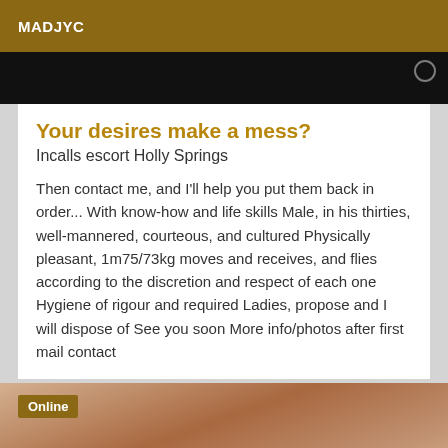MADJYC
[Figure (photo): Dark image bar at top of content card]
Your desires make a mess?
Incalls escort Holly Springs
Then contact me, and I'll help you put them back in order... With know-how and life skills Male, in his thirties, well-mannered, courteous, and cultured Physically pleasant, 1m75/73kg moves and receives, and flies according to the discretion and respect of each one Hygiene of rigour and required Ladies, propose and I will dispose of See you soon More info/photos after first mail contact
[Figure (photo): Photo of person's shoulder/neck area with tiled background, Online badge overlay]